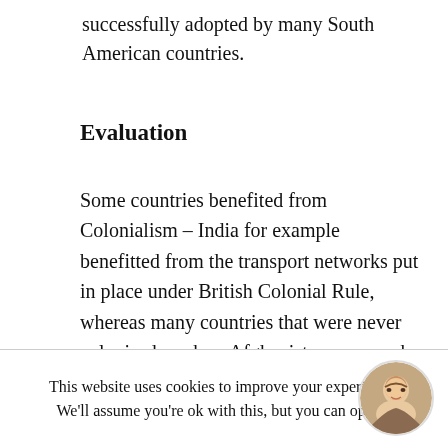successfully adopted by many South American countries.
Evaluation
Some countries benefited from Colonialism – India for example benefitted from the transport networks put in place under British Colonial Rule, whereas many countries that were never colonised, such as Afghanistan, are much less developed.
This website uses cookies to improve your experience. We'll assume you're ok with this, but you can opt-out if
[Figure (photo): Circular avatar photo of a smiling young woman]